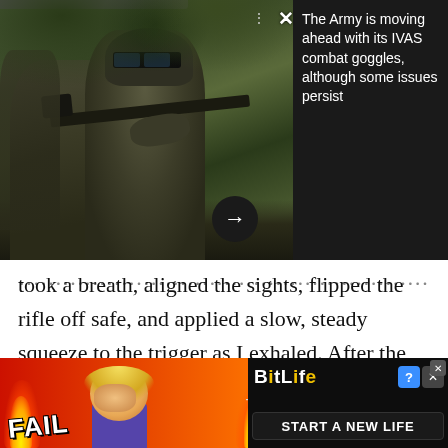[Figure (screenshot): News article thumbnail showing a soldier in combat gear with IVAS goggles in a wooded area, with a dark panel overlay on the right showing headline text, an X close button, and a forward arrow button.]
The Army is moving ahead with its IVAS combat goggles, although some issues persist
took a breath, aligned the sights, flipped the rifle off safe, and applied a slow, steady squeeze to the trigger as I exhaled. After the round propelled across the scene in front of us and I flipped the safety back on, I took a knee.
[Figure (screenshot): Mobile advertisement banner for BitLife game featuring red/orange flame background, a 'FAIL' text logo, a cartoon character, flame graphic, BitLife logo, question mark button, close button, and 'START A NEW LIFE' text on dark background.]